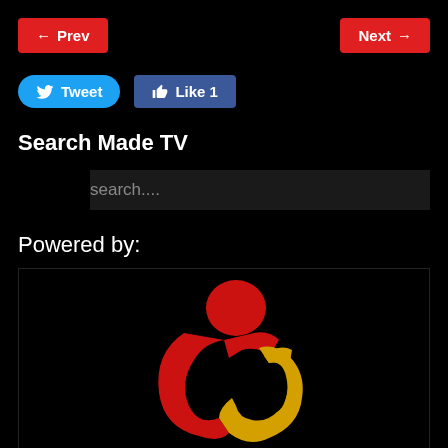[Figure (screenshot): Navigation buttons: Prev (red, left arrow) on left, Next (red, right arrow) on right]
[Figure (screenshot): Social buttons: Tweet (blue, Twitter bird icon) and Like 1 (Facebook blue, thumbs up icon)]
Search Made TV
search....
Powered by:
[Figure (logo): Logo on black background featuring stylized red and yellow intertwined letterforms]